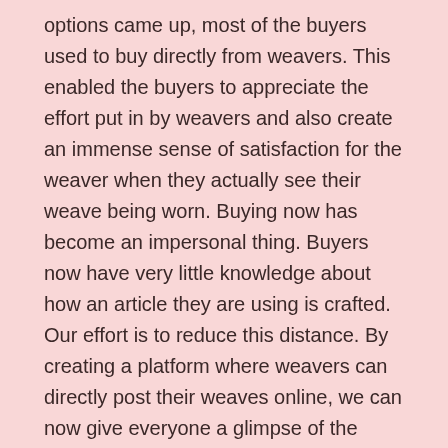options came up, most of the buyers used to buy directly from weavers. This enabled the buyers to appreciate the effort put in by weavers and also create an immense sense of satisfaction for the weaver when they actually see their weave being worn. Buying now has become an impersonal thing. Buyers now have very little knowledge about how an article they are using is crafted. Our effort is to reduce this distance. By creating a platform where weavers can directly post their weaves online, we can now give everyone a glimpse of the weaver who crafted the weave.
Contact
customercare@weavesmart.com
+91 6309995691